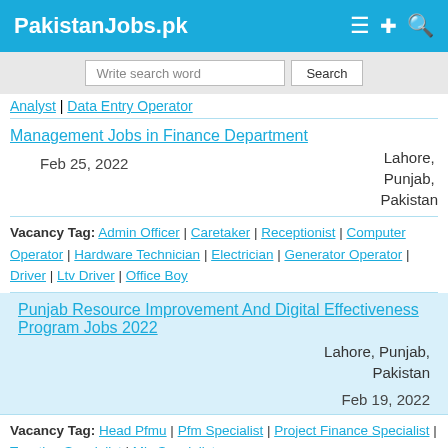PakistanJobs.pk
Write search word | Search
Analyst | Data Entry Operator
Management Jobs in Finance Department
Feb 25, 2022 | Lahore, Punjab, Pakistan
Vacancy Tag: Admin Officer | Caretaker | Receptionist | Computer Operator | Hardware Technician | Electrician | Generator Operator | Driver | Ltv Driver | Office Boy
Punjab Resource Improvement And Digital Effectiveness Program Jobs 2022
Lahore, Punjab, Pakistan | Feb 19, 2022
Vacancy Tag: Head Pfmu | Pfm Specialist | Project Finance Specialist | Taxation Specialist | Mis Specialist
Finance Department Sindh Jobs 2022